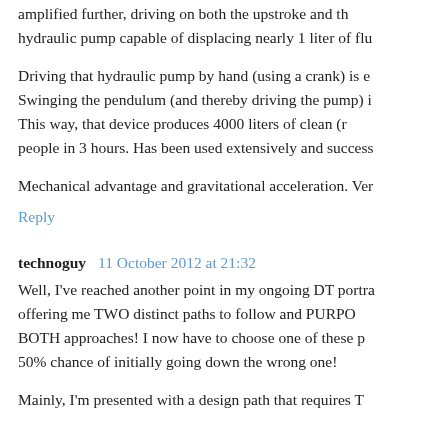amplified further, driving on both the upstroke and th hydraulic pump capable of displacing nearly 1 liter of flu
Driving that hydraulic pump by hand (using a crank) is e Swinging the pendulum (and thereby driving the pump) i This way, that device produces 4000 liters of clean (r people in 3 hours. Has been used extensively and success
Mechanical advantage and gravitational acceleration. Ver
Reply
technoguy  11 October 2012 at 21:32
Well, I've reached another point in my ongoing DT portra offering me TWO distinct paths to follow and PURPO BOTH approaches! I now have to choose one of these p 50% chance of initially going down the wrong one!
Mainly, I'm presented with a design path that requires T